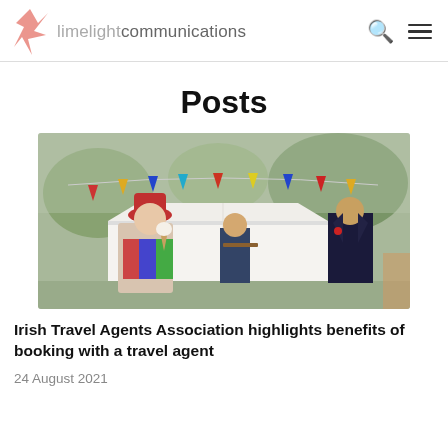limelight communications
Posts
[Figure (photo): Outdoor garden party or fête scene with colorful bunting flags, a white marquee tent, and people including a man in a red hat holding an ice cream cone in the foreground and a man in a suit on the right.]
Irish Travel Agents Association highlights benefits of booking with a travel agent
24 August 2021